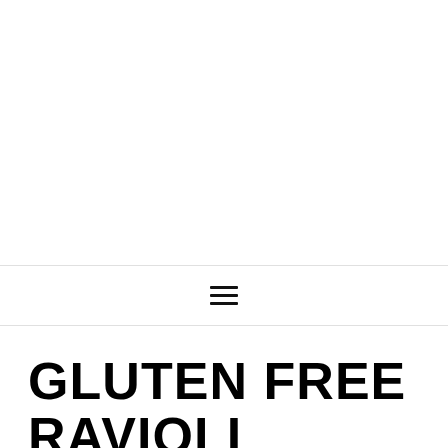[Figure (photo): Large white/blank image area at the top of the page, likely a food photo placeholder]
☰
GLUTEN FREE RAVIOLI